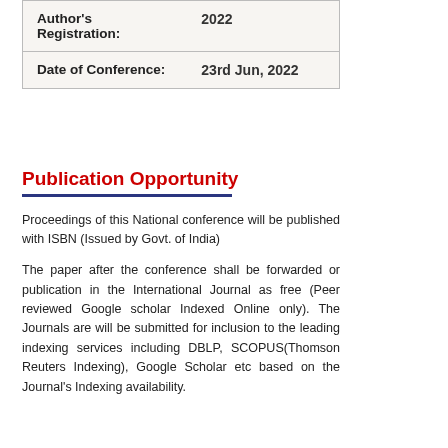|  |  |
| --- | --- |
| Author's Registration: | 2022 |
| Date of Conference: | 23rd Jun, 2022 |
Publication Opportunity
Proceedings of this National conference will be published with ISBN (Issued by Govt. of India)
The paper after the conference shall be forwarded or publication in the International Journal as free (Peer reviewed Google scholar Indexed Online only). The Journals are will be submitted for inclusion to the leading indexing services including DBLP, SCOPUS(Thomson Reuters Indexing), Google Scholar etc based on the Journal's Indexing availability.